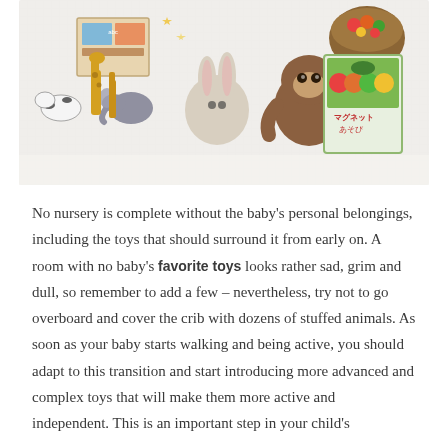[Figure (photo): Overhead view of various baby and toddler toys arranged on a white surface, including stuffed animals (rabbit, monkey), plastic animal figurines (giraffe, elephant, cow), a Japanese children's book, a colorful picture book, and a basket of small fruits/vegetables.]
No nursery is complete without the baby's personal belongings, including the toys that should surround it from early on. A room with no baby's favorite toys looks rather sad, grim and dull, so remember to add a few – nevertheless, try not to go overboard and cover the crib with dozens of stuffed animals. As soon as your baby starts walking and being active, you should adapt to this transition and start introducing more advanced and complex toys that will make them more active and independent. This is an important step in your child's